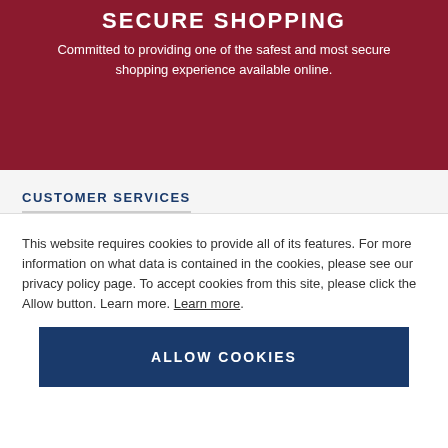SECURE SHOPPING
Committed to providing one of the safest and most secure shopping experience available online.
CUSTOMER SERVICES
This website requires cookies to provide all of its features. For more information on what data is contained in the cookies, please see our privacy policy page. To accept cookies from this site, please click the Allow button. Learn more. Learn more.
ALLOW COOKIES